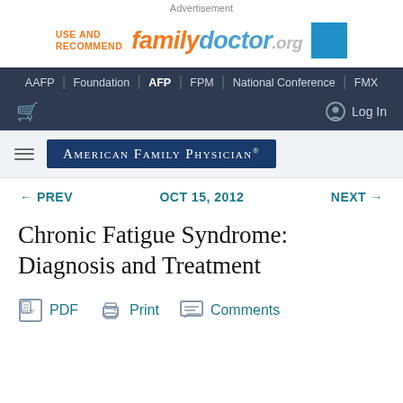Advertisement
[Figure (logo): familydoctor.org logo with 'USE AND RECOMMEND' text and blue square]
AAFP | Foundation | AFP | FPM | National Conference | FMX
Log In
AMERICAN FAMILY PHYSICIAN
← PREV    OCT 15, 2012    NEXT →
Chronic Fatigue Syndrome: Diagnosis and Treatment
PDF  Print  Comments